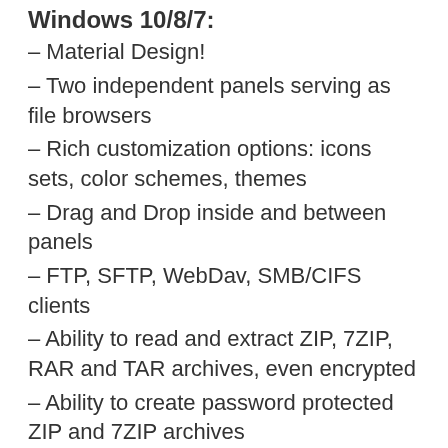Windows 10/8/7:
– Material Design!
– Two independent panels serving as file browsers
– Rich customization options: icons sets, color schemes, themes
– Drag and Drop inside and between panels
– FTP, SFTP, WebDav, SMB/CIFS clients
– Ability to read and extract ZIP, 7ZIP, RAR and TAR archives, even encrypted
– Ability to create password protected ZIP and 7ZIP archives
– Cloud file manager: Dropbox, Box, OneDrive, Google Drive, Sugarsync, Copy, Mediafire, Owncloud, Yandex
– Root access makes Solid Explorer a fully